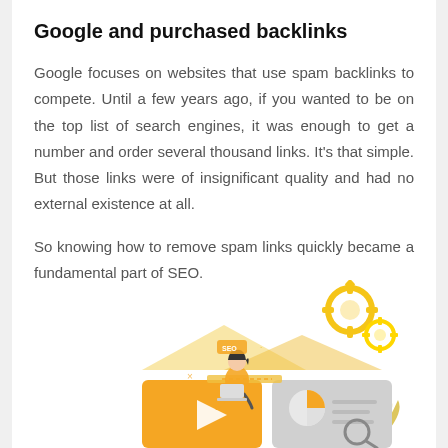Google and purchased backlinks
Google focuses on websites that use spam backlinks to compete. Until a few years ago, if you wanted to be on the top list of search engines, it was enough to get a number and order several thousand links. It's that simple. But those links were of insignificant quality and had no external existence at all.
So knowing how to remove spam links quickly became a fundamental part of SEO.
[Figure (illustration): An illustration showing a woman sitting on a stack of blocks with SEO-related graphics, a video play button block in orange/yellow, a pie chart block with a magnifying glass, gears, and decorative plants in yellow/gold tones.]